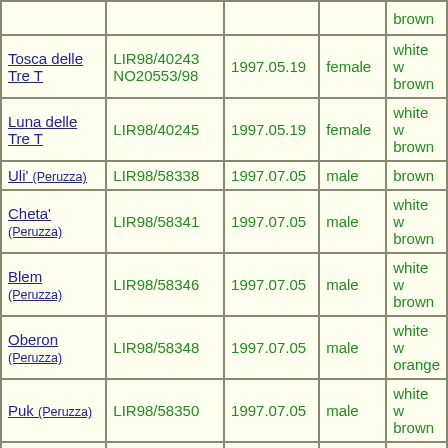| Name | ID | Date | Sex | Color |
| --- | --- | --- | --- | --- |
|  |  |  |  | brown |
| Tosca delle Tre T | LIR98/40243 NO20553/98 | 1997.05.19 | female | white w brown |
| Luna delle Tre T | LIR98/40245 | 1997.05.19 | female | white w brown |
| Uli' (Peruzza) | LIR98/58338 | 1997.07.05 | male | brown |
| Cheta' (Peruzza) | LIR98/58341 | 1997.07.05 | male | white w brown |
| Blem (Peruzza) | LIR98/58346 | 1997.07.05 | male | white w brown |
| Oberon (Peruzza) | LIR98/58348 | 1997.07.05 | male | white w orange |
| Puk (Peruzza) | LIR98/58350 | 1997.07.05 | male | white w brown |
| Ule' (Peruzza) | LIR98/58353 | 1997.07.05 | female | white w orange |
| Milla (Peruzza) | LIR98/58354 | 1997.07.05 | female | brown |
| Orsina (Peruzza) | LIR98/58356 | 1997.07.05 | female | brown |
| Bel (Foschini) | LIR98/27190 | 1997.08.01 | male | white w orange |
| Dea (Foschini) | LIR98/27193 | 1997.08.01 | female | white w |